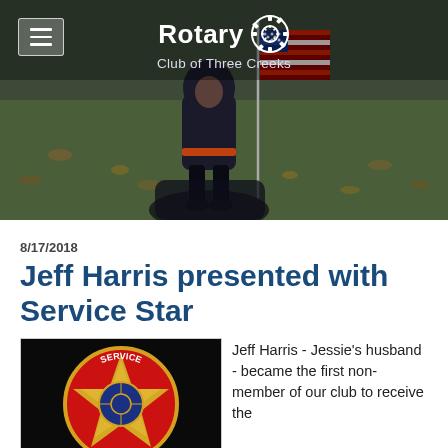[Figure (photo): Header banner photo showing a child standing in a park holding an American flag, with fallen leaves on the ground. Overlay shows Rotary Club of Three Creeks logo and name in white.]
Rotary Club of Three Creeks
8/17/2018
Jeff Harris presented with Service Star
[Figure (photo): Close-up photo of a gold and red Service Star badge/medal with 'SERVICE' text around the star, on a dark background.]
Jeff Harris - Jessie's husband - became the first non-member of our club to receive the